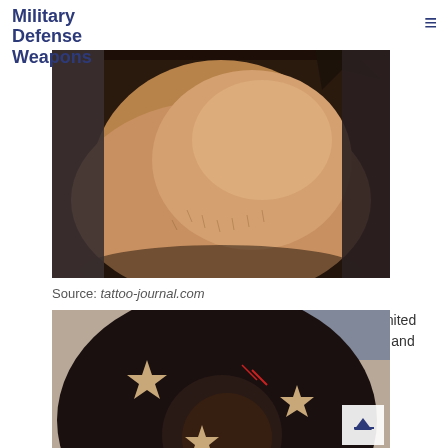Military Defense Weapons
[Figure (photo): Close-up photo of a person's forearm with a military tattoo visible at the top]
Source: tattoo-journal.com
Army tats abbreviation meaning defined here. Once limited to the parts of the body covered by long sleeved shirts and pants, the army now allows tattoos on the backs of the hands and on the back side of the neck.
[Figure (photo): Close-up photo of a shoulder tattoo featuring a large dark circular design with star cutouts]